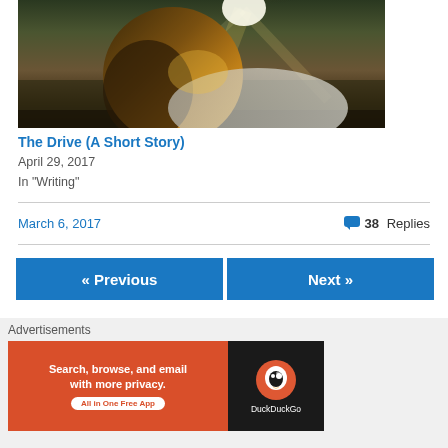[Figure (photo): Woman with long hair backlit by golden sunlight, sitting by a car window looking out at a field]
The Drive (A Short Story)
April 29, 2017
In "Writing"
March 6, 2017
38 Replies
« Previous
Next »
Advertisements
[Figure (screenshot): DuckDuckGo advertisement banner: 'Search, browse, and email with more privacy. All in One Free App' with DuckDuckGo logo on dark background]